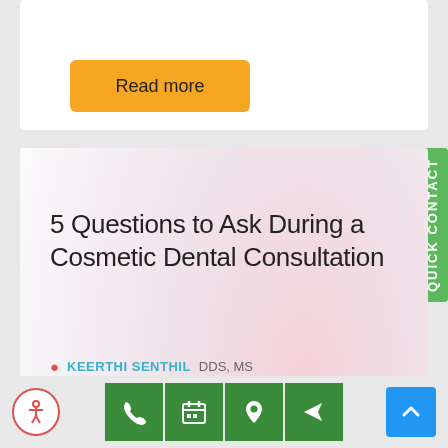Read more
5 Questions to Ask During a Cosmetic Dental Consultation
KEERTHI SENTHIL DDS, MS
[Figure (photo): Two people at a dental consultation, one with a ponytail leaning forward]
QUICK CONTACT
[Figure (infographic): Bottom toolbar with accessibility, phone, calendar, location, share, and scroll-to-top buttons]